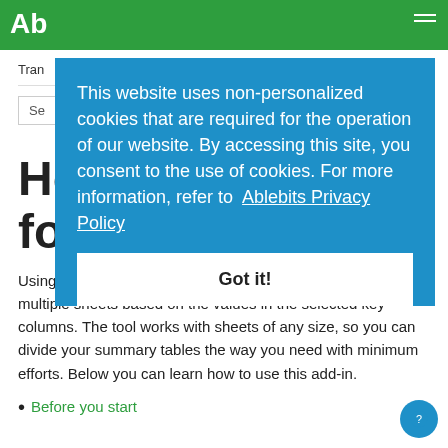Ab
Tran
Se
Ho for Excel
Using Split Table Wizard, you can bring a large worksheet to multiple sheets based on the values in the selected key columns. The tool works with sheets of any size, so you can divide your summary tables the way you need with minimum efforts. Below you can learn how to use this add-in.
Before you start
[Figure (screenshot): Cookie consent modal overlay on a blue background reading: 'This website uses non-personalized cookies that are required for the operation of our website. By accessing this site, you consent to the use of cookies. For more information, refer to Ablebits Privacy Policy' with a 'Got it!' button below.]